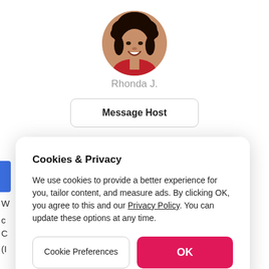[Figure (photo): Circular profile photo of a smiling woman with curly dark hair wearing a red top]
Rhonda J.
Message Host
Cookies & Privacy
We use cookies to provide a better experience for you, tailor content, and measure ads. By clicking OK, you agree to this and our Privacy Policy. You can update these options at any time.
Cookie Preferences
OK